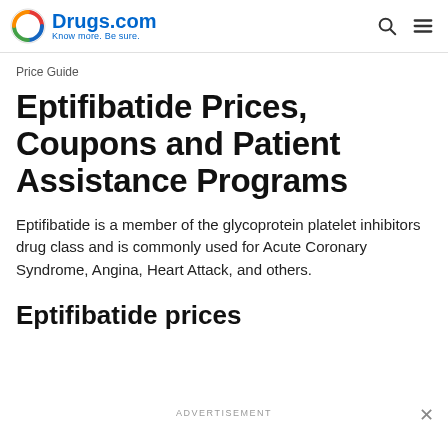Drugs.com — Know more. Be sure.
Price Guide
Eptifibatide Prices, Coupons and Patient Assistance Programs
Eptifibatide is a member of the glycoprotein platelet inhibitors drug class and is commonly used for Acute Coronary Syndrome, Angina, Heart Attack, and others.
Eptifibatide prices
ADVERTISEMENT